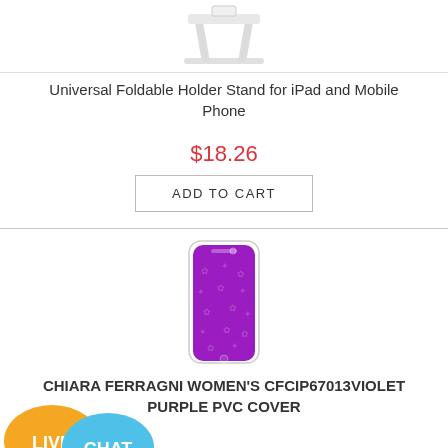[Figure (photo): Universal Foldable Holder Stand product image — white plastic stand]
Universal Foldable Holder Stand for iPad and Mobile Phone
$18.26
ADD TO CART
[Figure (photo): Purple PVC phone cover with Chiara Ferragni branding]
CHIARA FERRAGNI WOMEN'S CFCIP67013VIOLET PURPLE PVC COVER
[Figure (illustration): Live Chat badge — orange speech bubble with LIVE and blue speech bubble with CHAT]
$110.72